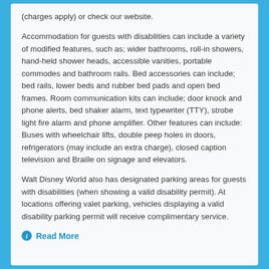(charges apply) or check our website.
Accommodation for guests with disabilities can include a variety of modified features, such as; wider bathrooms, roll-in showers, hand-held shower heads, accessible vanities, portable commodes and bathroom rails. Bed accessories can include; bed rails, lower beds and rubber bed pads and open bed frames. Room communication kits can include; door knock and phone alerts, bed shaker alarm, text typewriter (TTY), strobe light fire alarm and phone amplifier. Other features can include: Buses with wheelchair lifts, double peep holes in doors, refrigerators (may include an extra charge), closed caption television and Braille on signage and elevators.
Walt Disney World also has designated parking areas for guests with disabilities (when showing a valid disability permit). At locations offering valet parking, vehicles displaying a valid disability parking permit will receive complimentary service.
Read More